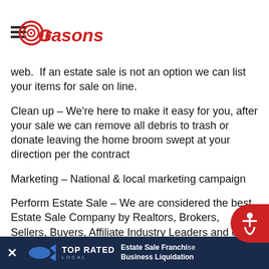Grasons
web.  If an estate sale is not an option we can list your items for sale on line.
Clean up – We're here to make it easy for you, after your sale we can remove all debris to trash or donate leaving the home broom swept at your direction per the contract
Marketing – National & local marketing campaign
Perform Estate Sale – We are considered the best Estate Sale Company by Realtors, Brokers, Sellers, Buyers, Affiliate Industry Leaders and our clients because we strive to be the best at time, with eve...
× TOP RATED LOCAL | Estate Sale Franchise Business Liquidation